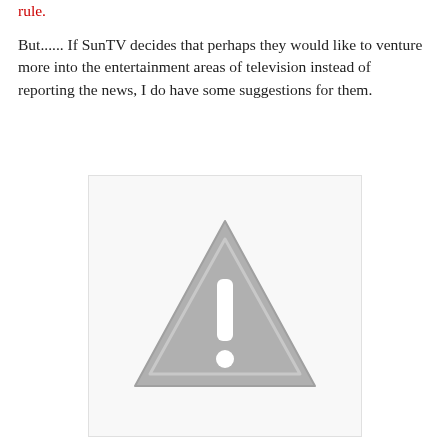rule.
But...... If SunTV decides that perhaps they would like to venture more into the entertainment areas of television instead of reporting the news, I do have some suggestions for them.
[Figure (other): Placeholder image with a grey warning/caution triangle icon (triangle with exclamation mark) on a light grey background with border.]